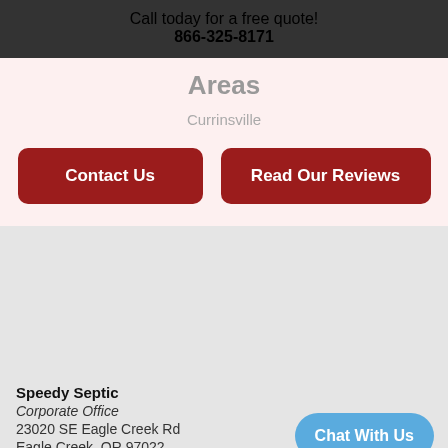Call today for a free quote!
866-325-8171
Areas
Currinsville
Contact Us
Read Our Reviews
Speedy Septic
Corporate Office
23020 SE Eagle Creek Rd
Eagle Creek, OR 97022
Chat With Us